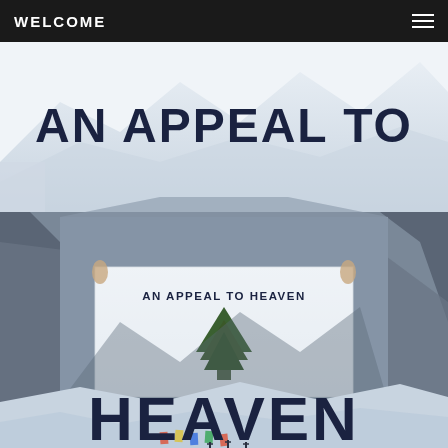WELCOME
[Figure (photo): Book cover for 'An Appeal to Heaven' showing a snowy mountain scene with a flag reading 'AN APPEAL TO HEAVEN' featuring a green pine tree. The large title text 'AN APPEAL TO' appears at the top and 'HEAVEN' at the bottom of the cover, with a photograph of someone holding the Appeal to Heaven flag on a mountain in the middle section.]